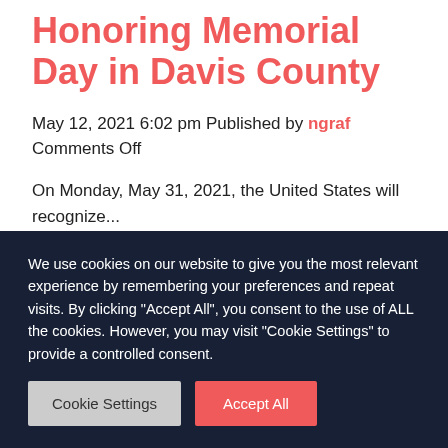Honoring Memorial Day in Davis County
May 12, 2021 6:02 pm Published by ngraf Comments Off
On Monday, May 31, 2021, the United States will recognize...
We use cookies on our website to give you the most relevant experience by remembering your preferences and repeat visits. By clicking “Accept All”, you consent to the use of ALL the cookies. However, you may visit "Cookie Settings" to provide a controlled consent.